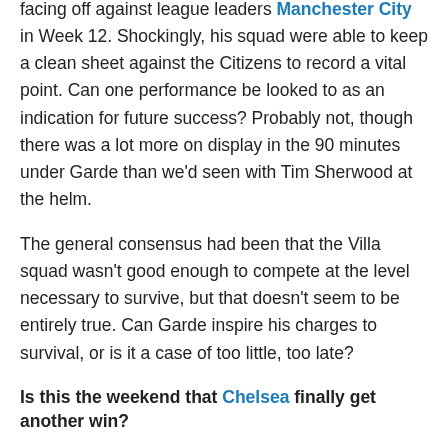facing off against league leaders Manchester City in Week 12. Shockingly, his squad were able to keep a clean sheet against the Citizens to record a vital point. Can one performance be looked to as an indication for future success? Probably not, though there was a lot more on display in the 90 minutes under Garde than we'd seen with Tim Sherwood at the helm.
The general consensus had been that the Villa squad wasn't good enough to compete at the level necessary to survive, but that doesn't seem to be entirely true. Can Garde inspire his charges to survival, or is it a case of too little, too late?
Is this the weekend that Chelsea finally get another win?
It's truly bizarre to see Chelsea lose three straight in the league, the first time since Roman Abramovich took